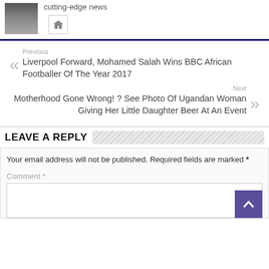[Figure (photo): Avatar photo of a person wearing dark clothing, with a market or shop background]
cutting-edge news
Previous
Liverpool Forward, Mohamed Salah Wins BBC African Footballer Of The Year 2017
Next
Motherhood Gone Wrong! ? See Photo Of Ugandan Woman Giving Her Little Daughter Beer At An Event
LEAVE A REPLY
Your email address will not be published. Required fields are marked *
Comment *